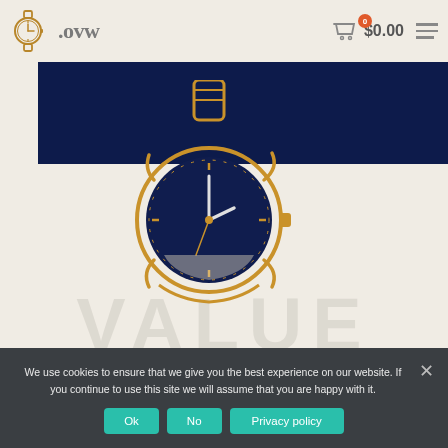.ovw  $0.00
[Figure (illustration): Dark navy blue hero banner with golden wristwatch logo/illustration overlaid, showing a detailed analog watch with visible clock face and hands]
[Figure (other): Large watermark text reading VALUE in light gray across the page background]
We use cookies to ensure that we give you the best experience on our website. If you continue to use this site we will assume that you are happy with it.
Ok  No  Privacy policy